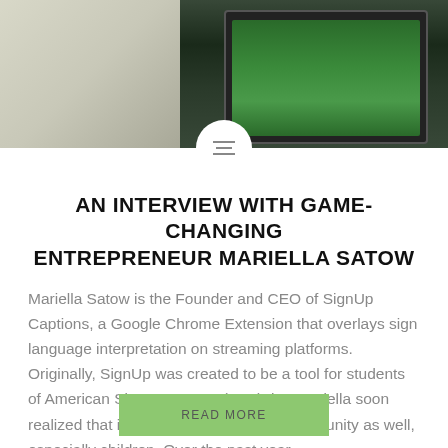[Figure (photo): Photo of a person sitting with a laptop open showing a green nature scene on the screen. A circular menu icon overlays the bottom center of the image.]
AN INTERVIEW WITH GAME-CHANGING ENTREPRENEUR MARIELLA SATOW
Mariella Satow is the Founder and CEO of SignUp Captions, a Google Chrome Extension that overlays sign language interpretation on streaming platforms. Originally, SignUp was created to be a tool for students of American Sign Language (ASL), but Mariella soon realized that it could benefit the Deaf community as well, especially children. Over the past year,…
READ MORE